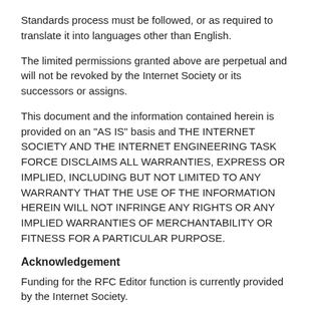Standards process must be followed, or as required to translate it into languages other than English.
The limited permissions granted above are perpetual and will not be revoked by the Internet Society or its successors or assigns.
This document and the information contained herein is provided on an "AS IS" basis and THE INTERNET SOCIETY AND THE INTERNET ENGINEERING TASK FORCE DISCLAIMS ALL WARRANTIES, EXPRESS OR IMPLIED, INCLUDING BUT NOT LIMITED TO ANY WARRANTY THAT THE USE OF THE INFORMATION HEREIN WILL NOT INFRINGE ANY RIGHTS OR ANY IMPLIED WARRANTIES OF MERCHANTABILITY OR FITNESS FOR A PARTICULAR PURPOSE.
Acknowledgement
Funding for the RFC Editor function is currently provided by the Internet Society.